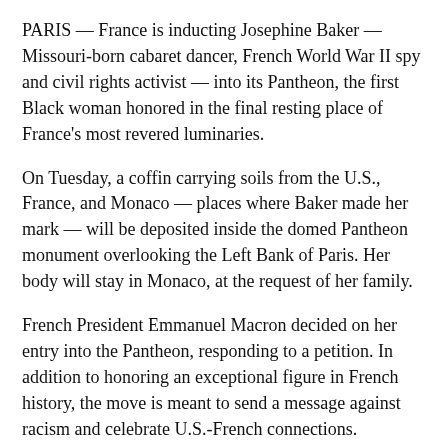PARIS — France is inducting Josephine Baker — Missouri-born cabaret dancer, French World War II spy and civil rights activist — into its Pantheon, the first Black woman honored in the final resting place of France's most revered luminaries.
On Tuesday, a coffin carrying soils from the U.S., France, and Monaco — places where Baker made her mark — will be deposited inside the domed Pantheon monument overlooking the Left Bank of Paris. Her body will stay in Monaco, at the request of her family.
French President Emmanuel Macron decided on her entry into the Pantheon, responding to a petition. In addition to honoring an exceptional figure in French history, the move is meant to send a message against racism and celebrate U.S.-French connections.
“She embodies, before anything, women’s freedom,” Laurent Kupferman, the author of the petition for the move, told The Associated Press.